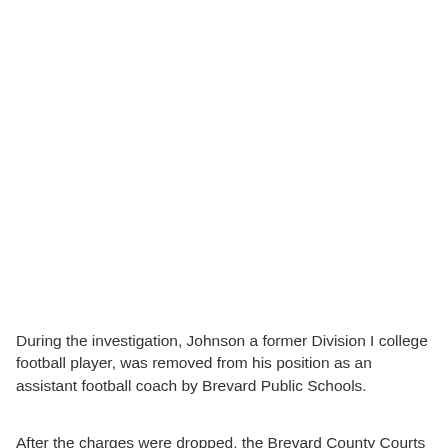During the investigation, Johnson a former Division I college football player, was removed from his position as an assistant football coach by Brevard Public Schools.
After the charges were dropped, the Brevard County Courts